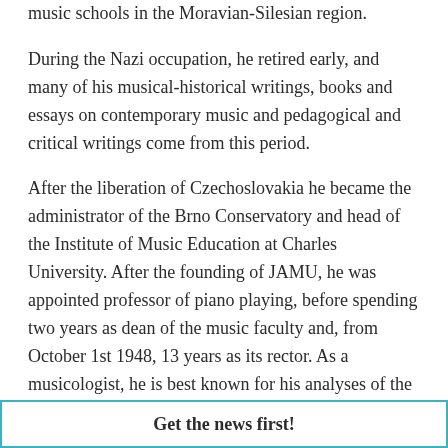music schools in the Moravian-Silesian region.
During the Nazi occupation, he retired early, and many of his musical-historical writings, books and essays on contemporary music and pedagogical and critical writings come from this period.
After the liberation of Czechoslovakia he became the administrator of the Brno Conservatory and head of the Institute of Music Education at Charles University. After the founding of JAMU, he was appointed professor of piano playing, before spending two years as dean of the music faculty and, from October 1st 1948, 13 years as its rector. As a musicologist, he is best known for his analyses of the works of Leoš Janáček.
Get the news first!